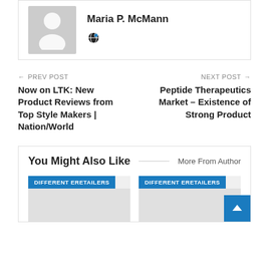[Figure (photo): Author profile card with grey avatar placeholder silhouette, name Maria P. McMann, and a globe/location icon]
Maria P. McMann
← PREV POST
Now on LTK: New Product Reviews from Top Style Makers | Nation/World
NEXT POST →
Peptide Therapeutics Market – Existence of Strong Product
You Might Also Like
More From Author
DIFFERENT ERETAILERS
DIFFERENT ERETAILERS